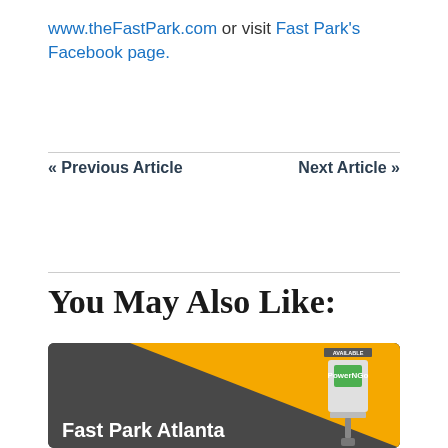www.theFastPark.com or visit Fast Park's Facebook page.
« Previous Article
Next Article »
You May Also Like:
[Figure (illustration): Fast Park Atlanta promotional card with dark grey background, orange triangle, and EV charger graphic with green 'AVAILABLE' and 'PowerNGo' labels. Text reads 'Fast Park Atlanta']